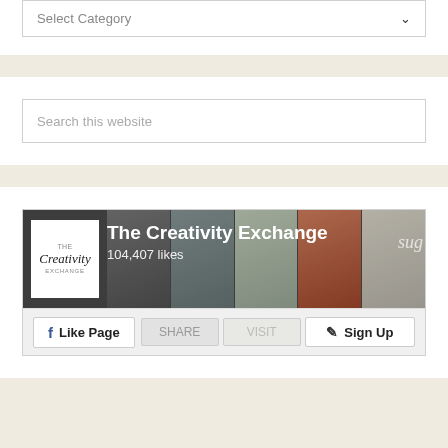[Figure (screenshot): Dropdown selector UI element showing 'Select Category' with a chevron arrow on the right]
[Figure (screenshot): Search input box showing placeholder text 'Search this website']
[Figure (screenshot): Facebook page widget for 'The Creativity Exchange' showing 104,407 likes, with cover photos, logo, Like Page button, and Sign Up button]